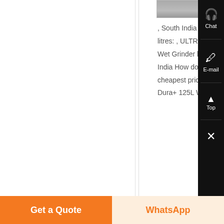[Figure (photo): Product image of ULTRA Dura+ 125L Wet Grinder, partially visible at top]
, South India Capacity: 125 litres: , ULTRA Dura+ 125L Wet Grinder by Elgi Ultra in India How do we ensure the cheapest price of ULTRA Dura+ 125L Wet Grinder...
Know More
Chat
E-mail
Top
Get a Quote
WhatsApp